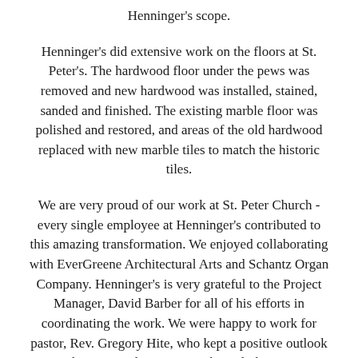Henninger's scope.
Henninger's did extensive work on the floors at St. Peter's. The hardwood floor under the pews was removed and new hardwood was installed, stained, sanded and finished. The existing marble floor was polished and restored, and areas of the old hardwood replaced with new marble tiles to match the historic tiles.
We are very proud of our work at St. Peter Church - every single employee at Henninger's contributed to this amazing transformation. We enjoyed collaborating with EverGreene Architectural Arts and Schantz Organ Company. Henninger's is very grateful to the Project Manager, David Barber for all of his efforts in coordinating the work. We were happy to work for pastor, Rev. Gregory Hite, who kept a positive outlook and accommodating nature through the entire renovation. Henninger's is especially excited for the parishioners of St. Peter - who deserve a church as splendid as their community.